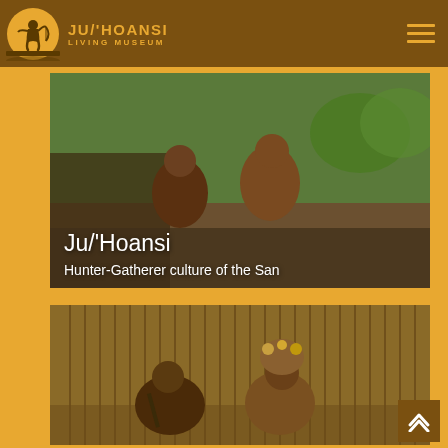JU/'HOANSI LIVING MUSEUM
[Figure (photo): Two San men crouching on the ground, one demonstrating fire-making or tool use to the other, with thatched structure and vegetation in background. Text overlay reads 'Ju/ʼHoansi' and 'Hunter-Gatherer culture of the San']
Ju/'Hoansi
Hunter-Gatherer culture of the San
[Figure (photo): Two San people sitting against a woven reed fence/wall, one playing a wind instrument and the other wearing traditional headgear with beaded ornaments, engaged in cultural activity]